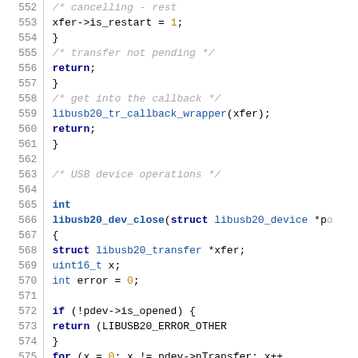[Figure (screenshot): Source code listing in C, lines 552-581, showing USB transfer callback and libusb20_dev_close function implementation]